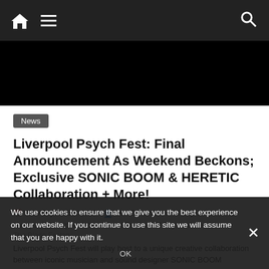Navigation bar with home icon, menu icon, and search icon
[Figure (photo): Black hero image area at top of article page]
News
Liverpool Psych Fest: Final Announcement As Weekend Beckons; Exclusive SONIC BOOM & HERETIC Collaboration + More!
18th September 2013   Lee Edwards   Camp & Furnace, Liverpool, Liverpool International Festival Of Psychedelia, News,
The Blade Factory
We use cookies to ensure that we give you the best experience on our website. If you continue to use this site we will assume that you are happy with it.
OK
Liverpool Psych Fest will play host to a unique creative collaboration between iconic musician and sound designer SONIC BOOM (Spacemen